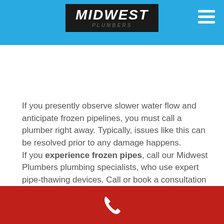MIDWEST
If you presently observe slower water flow and anticipate frozen pipelines, you must call a plumber right away. Typically, issues like this can be resolved prior to any damage happens.
If you experience frozen pipes, call our Midwest Plumbers plumbing specialists, who use expert pipe-thawing devices. Call or book a consultation online. For a
[Figure (other): Red footer bar with white phone icon]